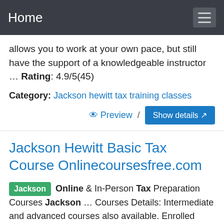Home
allows you to work at your own pace, but still have the support of a knowledgeable instructor … Rating: 4.9/5(45)
Category: Jackson hewitt tax training classes
Preview / Show details
Jackson Hewitt Basic Tax Course Onlinecoursesfree.com
Jackson Online & In-Person Tax Preparation Courses Jackson … Courses Details: Intermediate and advanced courses also available. Enrolled Agents and other tax return preparers are able to earn continuing education (CE) credit by successfully completing one of Jackson Hewitt's intermediate-level tax courses.Courses vary between 1 - 3 CE's, depending upon the course …